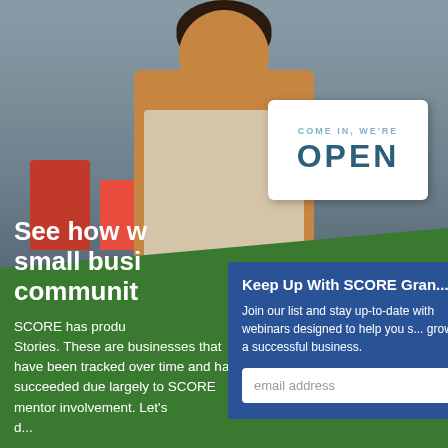[Figure (photo): Woman in apron holding an OPEN sign in a restaurant setting]
Keep Up With SCORE Gra...
Join our list and stay up-to-date with webinars designed to help you s... grow a successful business.
See how w... small busi... communit...
SCORE has produ... Stories. These are businesses that have been tracked over time and have succeeded due largely to SCORE mentor involvement. Let's d...